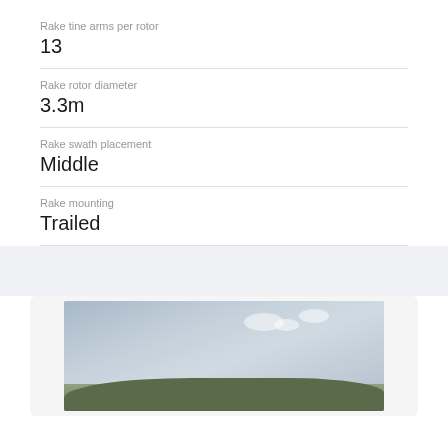Rake tine arms per rotor
13
Rake rotor diameter
3.3m
Rake swath placement
Middle
Rake mounting
Trailed
[Figure (photo): Outdoor photo of agricultural equipment in a field with sky and treeline in background]